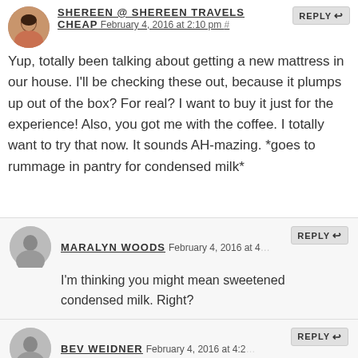SHEREEN @ SHEREEN TRAVELS CHEAP  February 4, 2016 at 2:10 pm #  REPLY
Yup, totally been talking about getting a new mattress in our house. I'll be checking these out, because it plumps up out of the box? For real? I want to buy it just for the experience! Also, you got me with the coffee. I totally want to try that now. It sounds AH-mazing. *goes to rummage in pantry for condensed milk*
MARALYN WOODS  February 4, 2016 at 4:  REPLY
I'm thinking you might mean sweetened condensed milk. Right?
BEV WEIDNER  February 4, 2016 at 4:2  REPLY
Correct! Not the non-sweetened evaporated milk. The thick, luscious stuff. Mmmm.